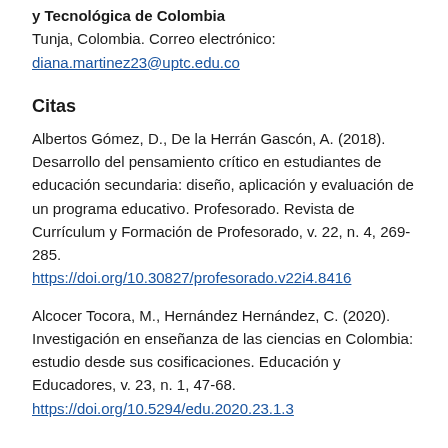y Tecnológica de Colombia
Tunja, Colombia. Correo electrónico:
diana.martinez23@uptc.edu.co
Citas
Albertos Gómez, D., De la Herrán Gascón, A. (2018). Desarrollo del pensamiento crítico en estudiantes de educación secundaria: diseño, aplicación y evaluación de un programa educativo. Profesorado. Revista de Currículum y Formación de Profesorado, v. 22, n. 4, 269-285. https://doi.org/10.30827/profesorado.v22i4.8416
Alcocer Tocora, M., Hernández Hernández, C. (2020). Investigación en enseñanza de las ciencias en Colombia: estudio desde sus cosificaciones. Educación y Educadores, v. 23, n. 1, 47-68. https://doi.org/10.5294/edu.2020.23.1.3